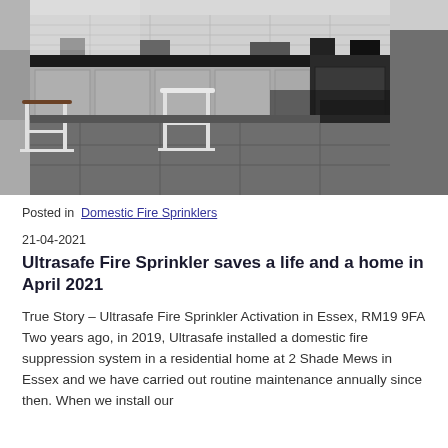[Figure (photo): Interior photo of a kitchen with fire/smoke damage. White kitchen cabinets are heavily sooted and scorched, especially on the right side near the wall. Black countertops are visible. Two white bar stools are in the foreground on a grey tiled floor. The kitchen forms an L-shape with damage concentrated on the right side.]
Posted in Domestic Fire Sprinklers
21-04-2021
Ultrasafe Fire Sprinkler saves a life and a home in April 2021
True Story – Ultrasafe Fire Sprinkler Activation in Essex, RM19 9FA Two years ago, in 2019, Ultrasafe installed a domestic fire suppression system in a residential home at 2 Shade Mews in Essex and we have carried out routine maintenance annually since then. When we install our